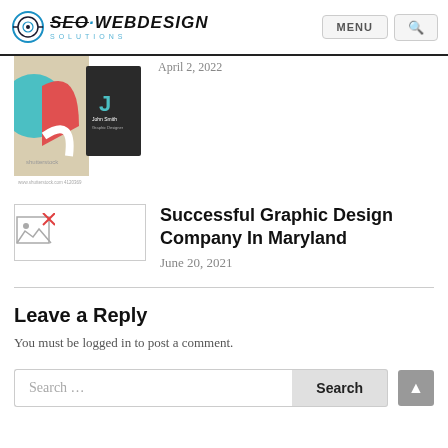SEO WEBDESIGN SOLUTIONS — MENU / Search
[Figure (screenshot): Partial business card design image showing colorful graphic design with shutterstock watermark]
April 2, 2022
[Figure (photo): Broken/missing image icon placeholder for Successful Graphic Design Company In Maryland article]
Successful Graphic Design Company In Maryland
June 20, 2021
Leave a Reply
You must be logged in to post a comment.